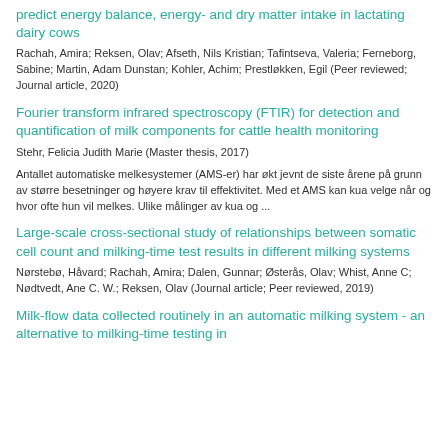predict energy balance, energy- and dry matter intake in lactating dairy cows
Rachah, Amira; Reksen, Olav; Afseth, Nils Kristian; Tafintseva, Valeria; Ferneborg, Sabine; Martin, Adam Dunstan; Kohler, Achim; Prestløkken, Egil (Peer reviewed; Journal article, 2020)
Fourier transform infrared spectroscopy (FTIR) for detection and quantification of milk components for cattle health monitoring
Stehr, Felicia Judith Marie (Master thesis, 2017)
Antallet automatiske melkesystemer (AMS-er) har økt jevnt de siste årene på grunn av større besetninger og høyere krav til effektivitet. Med et AMS kan kua velge når og hvor ofte hun vil melkes. Ulike målinger av kua og ...
Large-scale cross-sectional study of relationships between somatic cell count and milking-time test results in different milking systems
Nørstebø, Håvard; Rachah, Amira; Dalen, Gunnar; Østerås, Olav; Whist, Anne C; Nødtvedt, Ane C. W.; Reksen, Olav (Journal article; Peer reviewed, 2019)
Milk-flow data collected routinely in an automatic milking system - an alternative to milking-time testing in